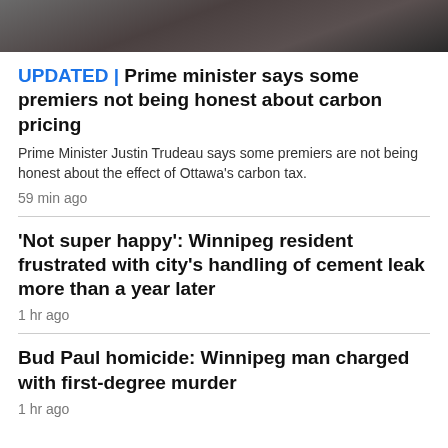[Figure (photo): Partial photo strip at the top of the page, showing legs/feet of people in an outdoor setting.]
UPDATED | Prime minister says some premiers not being honest about carbon pricing
Prime Minister Justin Trudeau says some premiers are not being honest about the effect of Ottawa's carbon tax.
59 min ago
'Not super happy': Winnipeg resident frustrated with city's handling of cement leak more than a year later
1 hr ago
Bud Paul homicide: Winnipeg man charged with first-degree murder
1 hr ago